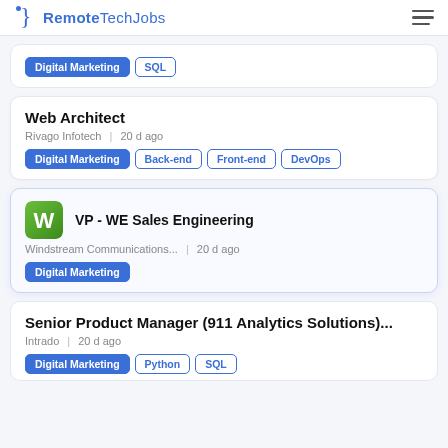RemoteTechJobs
Digital Marketing | SQL — (partial top card)
Web Architect — Rivago Infotech | 20 d ago — Tags: Digital Marketing, Back-end, Front-end, DevOps
VP - WE Sales Engineering — Windstream Communications... | 20 d ago — Tags: Digital Marketing
Senior Product Manager (911 Analytics Solutions)... — Intrado | 20 d ago — Tags: Digital Marketing, Python, SQL